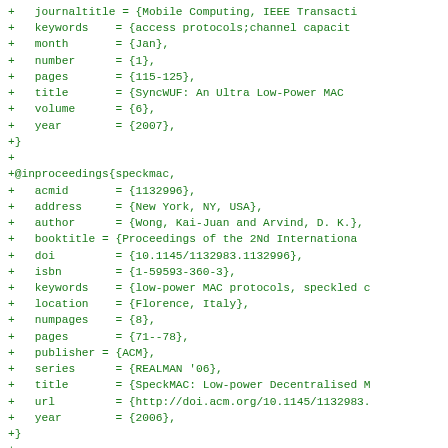+ journaltitle = {Mobile Computing, IEEE Transacti
+   keywords    = {access protocols;channel capacit
+   month       = {Jan},
+   number      = {1},
+   pages       = {115-125},
+   title       = {SyncWUF: An Ultra Low-Power MAC
+   volume      = {6},
+   year        = {2007},
+}
+
+@inproceedings{speckmac,
+   acmid       = {1132996},
+   address     = {New York, NY, USA},
+   author      = {Wong, Kai-Juan and Arvind, D. K.},
+   booktitle = {Proceedings of the 2Nd Internationa
+   doi         = {10.1145/1132983.1132996},
+   isbn        = {1-59593-360-3},
+   keywords    = {low-power MAC protocols, speckled c
+   location    = {Florence, Italy},
+   numpages    = {8},
+   pages       = {71--78},
+   publisher = {ACM},
+   series      = {REALMAN '06},
+   title       = {SpeckMAC: Low-power Decentralised M
+   url         = {http://doi.acm.org/10.1145/1132983.
+   year        = {2006},
+}
+
+@inproceedings{mxmac,
+   author      = {Christophe J. Merlin and Wendi B. H